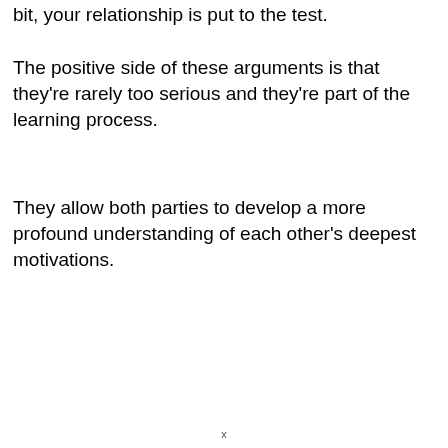bit, your relationship is put to the test.
The positive side of these arguments is that they're rarely too serious and they're part of the learning process.
They allow both parties to develop a more profound understanding of each other's deepest motivations.
x